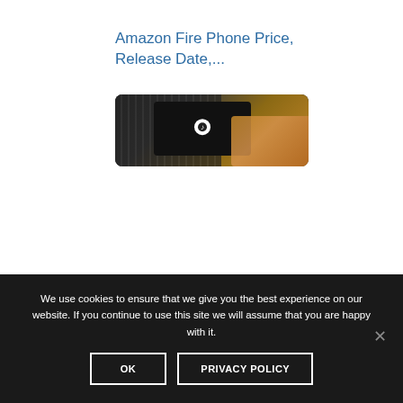Amazon Fire Phone Price, Release Date,...
[Figure (photo): A hand holding a smartphone with TikTok logo visible on screen, with a laptop keyboard in the background on a wooden surface.]
We use cookies to ensure that we give you the best experience on our website. If you continue to use this site we will assume that you are happy with it.